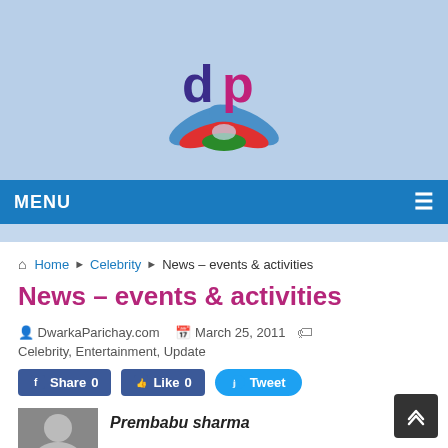[Figure (logo): DwarkaParichay.com logo: stylized 'dp' letters in purple and magenta with colorful wing/leaf design in blue, red, green]
MENU
Home › Celebrity › News – events & activities
News – events & activities
DwarkaParichay.com   March 25, 2011   Celebrity, Entertainment, Update
Share 0   Like 0   Tweet
Prembabu sharma